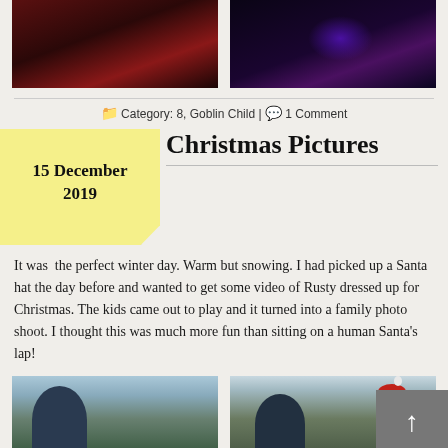[Figure (photo): Two dark photo thumbnails at top: left shows reddish snowy landscape, right shows dark scene with purple/blue light]
Category: 8, Goblin Child | 1 Comment
[Figure (illustration): Yellow sticky note with handwritten style text: 15 December 2019]
Christmas Pictures
It was  the perfect winter day. Warm but snowing. I had picked up a Santa hat the day before and wanted to get some video of Rusty dressed up for Christmas. The kids came out to play and it turned into a family photo shoot. I thought this was much more fun than sitting on a human Santa's lap!
[Figure (photo): Two photo thumbnails at bottom: left shows person in dark winter clothing in snowy setting, right shows people in snowy setting with Santa hat visible. A grey back-to-top arrow button overlays the bottom right corner.]